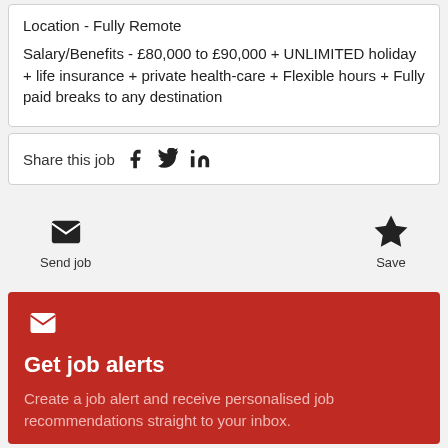Location - Fully Remote
Salary/Benefits - £80,000 to £90,000 + UNLIMITED holiday + life insurance + private health-care + Flexible hours + Fully paid breaks to any destination
Share this job
Send job
Save
Get job alerts
Create a job alert and receive personalised job recommendations straight to your inbox.